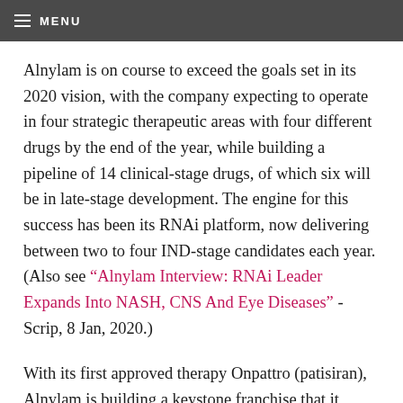MENU
Alnylam is on course to exceed the goals set in its 2020 vision, with the company expecting to operate in four strategic therapeutic areas with four different drugs by the end of the year, while building a pipeline of 14 clinical-stage drugs, of which six will be in late-stage development. The engine for this success has been its RNAi platform, now delivering between two to four IND-stage candidates each year. (Also see “Alnylam Interview: RNAi Leader Expands Into NASH, CNS And Eye Diseases” - Scrip, 8 Jan, 2020.)
With its first approved therapy Onpattro (patisiran), Alnylam is building a keystone franchise that it hopes to establish into a multi-billion-dollar anchor point, driving the company eventually into profitability and funding continued expansion. 2019 sales came in at $166m, so